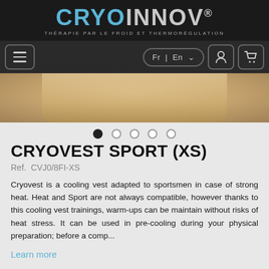CRYOINNOV® — THÉRAPIE PAR LE FROID ET THERMORÉGULATION
[Figure (screenshot): Navigation bar with hamburger menu, language selector Fr | En, user icon, and cart icon on dark background]
[Figure (photo): Product photo showing a person wearing the Cryovest Sport cooling vest, cropped at torso level]
CRYOVEST SPORT (XS)
Ref. CVJO/8FI-XS
Cryovest is a cooling vest adapted to sportsmen in case of strong heat. Heat and Sport are not always compatible, however thanks to this cooling vest trainings, warm-ups can be maintain without risks of heat stress. It can be used in pre-cooling during your physical preparation; before a comp...
Learn more